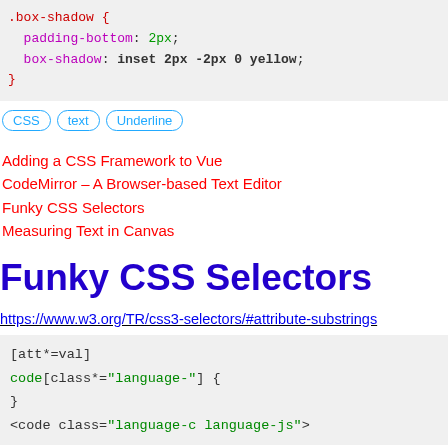.box-shadow {
  padding-bottom: 2px;
  box-shadow: inset 2px -2px 0 yellow;
}
CSS
text
Underline
Adding a CSS Framework to Vue
CodeMirror – A Browser-based Text Editor
Funky CSS Selectors
Measuring Text in Canvas
Funky CSS Selectors
https://www.w3.org/TR/css3-selectors/#attribute-substrings
[att*=val]
code[class*="language-"] {
}
<code class="language-c language-js">